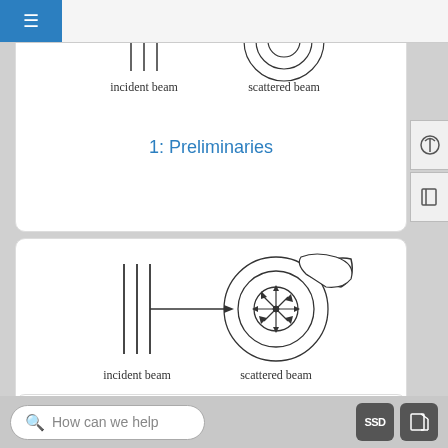[Figure (schematic): Top card partially visible: incident beam (vertical lines) and scattered beam (concentric circles) diagrams with labels]
1: Preliminaries
[Figure (schematic): Scattering diagram showing incident beam (three vertical parallel lines) with arrow pointing to a circular target with concentric rings and a detector arm, with arrows radiating outward from center. Labels: incident beam, scattered beam.]
2: Scattering States
[Figure (schematic): Third card partially visible at bottom, showing top of another scattering diagram]
How can we help